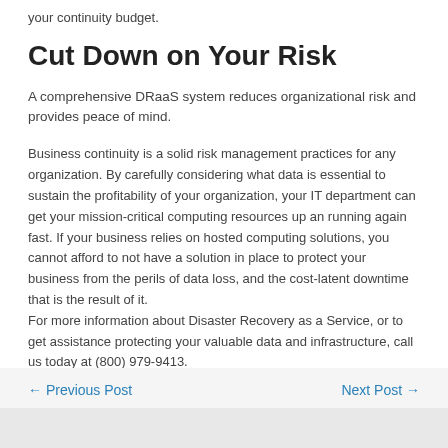your continuity budget.
Cut Down on Your Risk
A comprehensive DRaaS system reduces organizational risk and provides peace of mind.
Business continuity is a solid risk management practices for any organization. By carefully considering what data is essential to sustain the profitability of your organization, your IT department can get your mission-critical computing resources up an running again fast. If your business relies on hosted computing solutions, you cannot afford to not have a solution in place to protect your business from the perils of data loss, and the cost-latent downtime that is the result of it.
For more information about Disaster Recovery as a Service, or to get assistance protecting your valuable data and infrastructure, call us today at (800) 979-9413.
← Previous Post    Next Post →